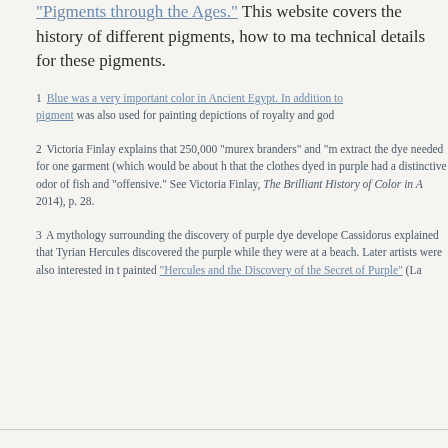"Pigments through the Ages." This website covers the history of different pigments, how to make technical details for these pigments.
1 Blue was a very important color in Ancient Egypt. In addition to pigment was also used for painting depictions of royalty and god
2 Victoria Finlay explains that 250,000 "murex branders" and "m extract the dye needed for one garment (which would be about that the clothes dyed in purple had a distinctive odor of fish and "offensive." See Victoria Finlay, The Brilliant History of Color in A 2014), p. 28.
3 A mythology surrounding the discovery of purple dye develope Cassidorus explained that Tyrian Hercules discovered the purpl while they were at a beach. Later artists were also interested in painted "Hercules and the Discovery of the Secret of Purple" (La